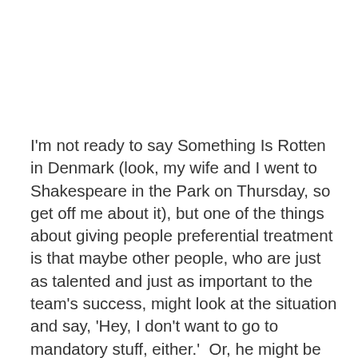I'm not ready to say Something Is Rotten in Denmark (look, my wife and I went to Shakespeare in the Park on Thursday, so get off me about it), but one of the things about giving people preferential treatment is that maybe other people, who are just as talented and just as important to the team's success, might look at the situation and say, 'Hey, I don't want to go to mandatory stuff, either.'  Or, he might be tring to send a subtle message about wanting a new contract, and hiding behind 'Adrian Peterson Day' in his hometown to do it. Or, and here's the shocker...he's a guy that feels like he needs to live up to his obligations, and follow